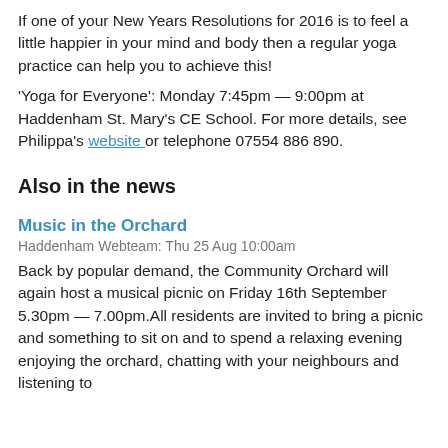If one of your New Years Resolutions for 2016 is to feel a little happier in your mind and body then a regular yoga practice can help you to achieve this!
'Yoga for Everyone': Monday 7:45pm — 9:00pm at Haddenham St. Mary's CE School. For more details, see Philippa's website or telephone 07554 886 890.
Also in the news
Music in the Orchard
Haddenham Webteam: Thu 25 Aug 10:00am
Back by popular demand, the Community Orchard will again host a musical picnic on Friday 16th September 5.30pm — 7.00pm.All residents are invited to bring a picnic and something to sit on and to spend a relaxing evening enjoying the orchard, chatting with your neighbours and listening to